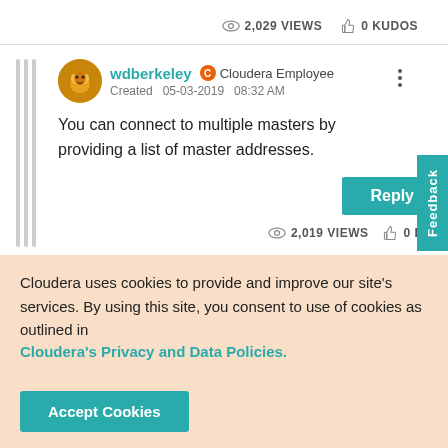2,029 VIEWS   0 KUDOS
wdberkeley   Cloudera Employee
Created   05-03-2019   08:32 AM
You can connect to multiple masters by providing a list of master addresses.
Reply
2,019 VIEWS   0 KUD
Cloudera uses cookies to provide and improve our site's services. By using this site, you consent to use of cookies as outlined in Cloudera's Privacy and Data Policies.
Accept Cookies